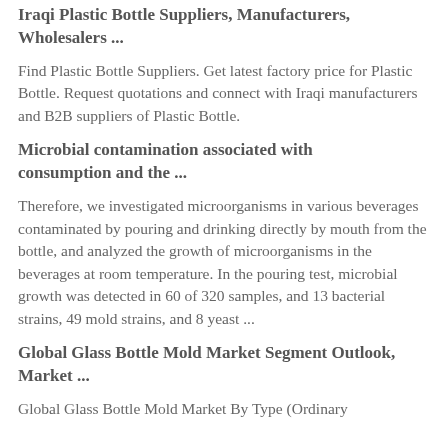Iraqi Plastic Bottle Suppliers, Manufacturers, Wholesalers ...
Find Plastic Bottle Suppliers. Get latest factory price for Plastic Bottle. Request quotations and connect with Iraqi manufacturers and B2B suppliers of Plastic Bottle.
Microbial contamination associated with consumption and the ...
Therefore, we investigated microorganisms in various beverages contaminated by pouring and drinking directly by mouth from the bottle, and analyzed the growth of microorganisms in the beverages at room temperature. In the pouring test, microbial growth was detected in 60 of 320 samples, and 13 bacterial strains, 49 mold strains, and 8 yeast ...
Global Glass Bottle Mold Market Segment Outlook, Market ...
Global Glass Bottle Mold Market By Type (Ordinary